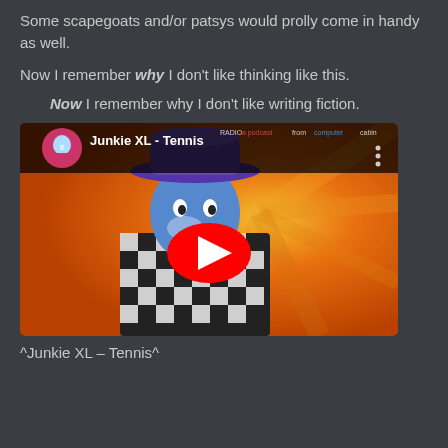Some scapegoats and/or patsys would prolly come in handy as well.
Now I remember why I don't like thinking like this.
Now I remember why I don't like writing fiction.
[Figure (screenshot): Embedded YouTube video player showing Junkie XL - Tennis. The thumbnail shows a stylized illustration of a person in a purple hat and checkered jacket with an orange radial background. A red YouTube play button is centered on the video. The video title 'Junkie XL - Tennis' and a channel avatar are shown in the upper left.]
^Junkie XL – Tennis^